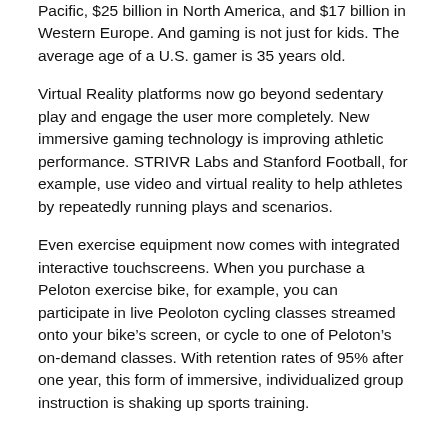Pacific, $25 billion in North America, and $17 billion in Western Europe. And gaming is not just for kids. The average age of a U.S. gamer is 35 years old.
Virtual Reality platforms now go beyond sedentary play and engage the user more completely. New immersive gaming technology is improving athletic performance. STRIVR Labs and Stanford Football, for example, use video and virtual reality to help athletes by repeatedly running plays and scenarios.
Even exercise equipment now comes with integrated interactive touchscreens. When you purchase a Peloton exercise bike, for example, you can participate in live Peoloton cycling classes streamed onto your bike's screen, or cycle to one of Peloton's on-demand classes. With retention rates of 95% after one year, this form of immersive, individualized group instruction is shaking up sports training.